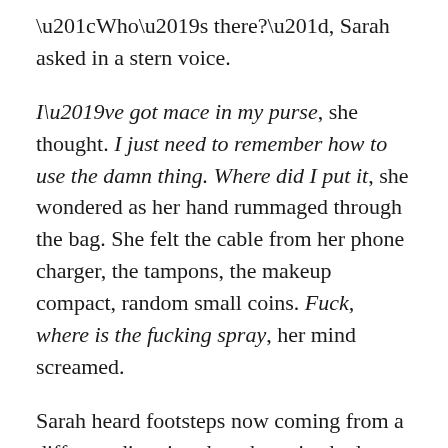“Who’s there?”, Sarah asked in a stern voice.
I’ve got mace in my purse, she thought. I just need to remember how to use the damn thing. Where did I put it, she wondered as her hand rummaged through the bag. She felt the cable from her phone charger, the tampons, the makeup compact, random small coins. Fuck, where is the fucking spray, her mind screamed.
Sarah heard footsteps now coming from a different direction than the voice had come from, more behind her than out in front of her. This time, a different voice broke the silence.
“Don’t scream.”